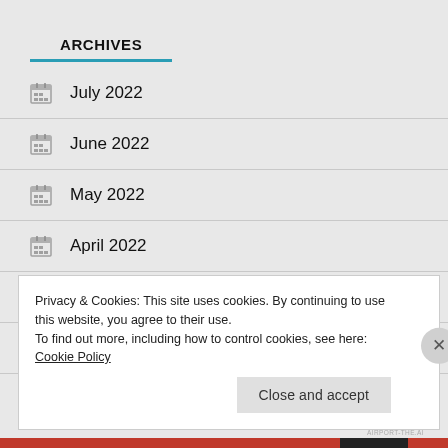ARCHIVES
July 2022
June 2022
May 2022
April 2022
March 2022
February 2022
Privacy & Cookies: This site uses cookies. By continuing to use this website, you agree to their use.
To find out more, including how to control cookies, see here: Cookie Policy
Close and accept